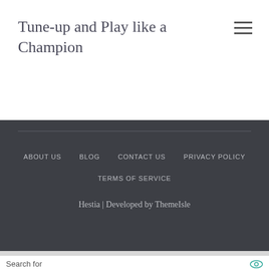Tune-up and Play like a Champion
ABOUT US  BLOG  CONTACT US  PRIVACY POLICY  TERMS OF SERVICE
Hestia | Developed by ThemeIsle
Search for
1. DIGITAL SIGNAGE DISPLAYS BOARD
2. MOBILE PHONE WITH NO CONTRACT
Yahoo! Search | Sponsored